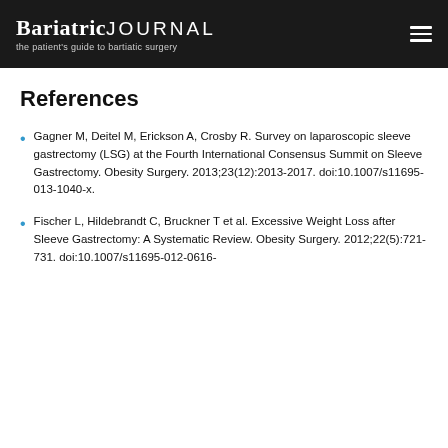BariatricJOURNAL the patient's guide to bariatric surgery
References
Gagner M, Deitel M, Erickson A, Crosby R. Survey on laparoscopic sleeve gastrectomy (LSG) at the Fourth International Consensus Summit on Sleeve Gastrectomy. Obesity Surgery. 2013;23(12):2013-2017. doi:10.1007/s11695-013-1040-x.
Fischer L, Hildebrandt C, Bruckner T et al. Excessive Weight Loss after Sleeve Gastrectomy: A Systematic Review. Obesity Surgery. 2012;22(5):721-731. doi:10.1007/s11695-012-0616-